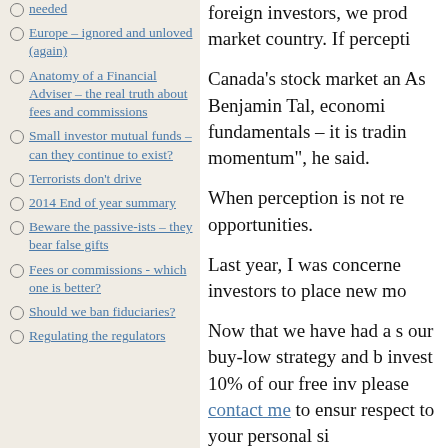needed
Europe – ignored and unloved (again)
Anatomy of a Financial Adviser – the real truth about fees and commissions
Small investor mutual funds – can they continue to exist?
Terrorists don't drive
2014 End of year summary
Beware the passive-ists – they bear false gifts
Fees or commissions - which one is better?
Should we ban fiduciaries?
Regulating the regulators
foreign investors, we prod market country. If percepti
Canada's stock market an As Benjamin Tal, economi fundamentals – it is tradin momentum", he said.
When perception is not re opportunities.
Last year, I was concerne investors to place new mo
Now that we have had a s our buy-low strategy and b invest 10% of our free inv please contact me to ensur respect to your personal si
Source and references: